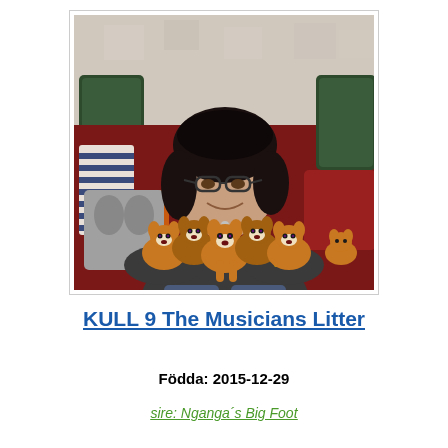[Figure (photo): A woman with dark hair and glasses sitting on a couch/bed with red bedding and colorful pillows, holding five small Corgi puppies in her arms. The background shows a patterned wall and various pillows including green, striped, and grey cushions.]
KULL 9 The Musicians Litter
Födda: 2015-12-29
sire: Nganga´s Big Foot